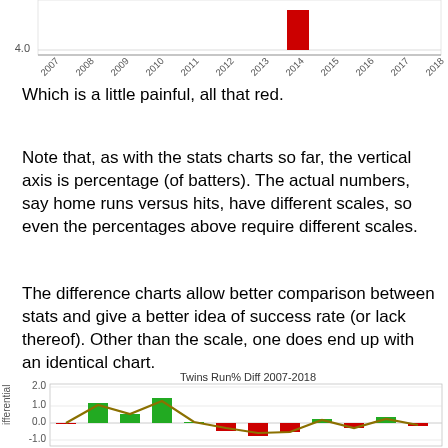[Figure (bar-chart): Top portion of a bar chart showing data from 2007-2018, with a red bar visible around 2013. Y-axis shows value around 4.0. X-axis shows years 2007-2018.]
Which is a little painful, all that red.
Note that, as with the stats charts so far, the vertical axis is percentage (of batters). The actual numbers, say home runs versus hits, have different scales, so even the percentages above require different scales.
The difference charts allow better comparison between stats and give a better idea of success rate (or lack thereof). Other than the scale, one does end up with an identical chart.
[Figure (bar-chart): Partial bar chart titled 'Twins Run% Diff 2007-2018'. Y-axis label 'ifferential', shows values from -1.0 to 2.0. Green and red bars with a brown/olive line overlay. Green bars around 2008, 2010; red bars around 2012-2015, 2017-2018. Brown curve visible.]